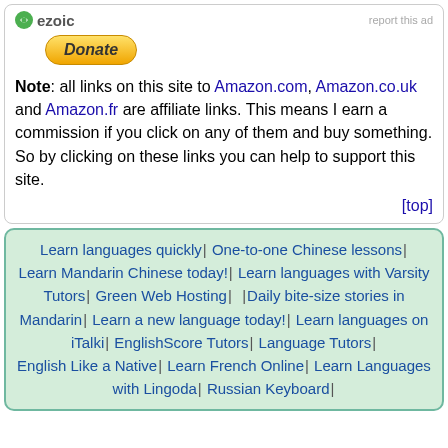[Figure (logo): Ezoic logo with green circular icon and text 'ezoic']
[Figure (other): PayPal Donate button, gold/yellow rounded rectangle with italic bold 'Donate' text]
Note: all links on this site to Amazon.com, Amazon.co.uk and Amazon.fr are affiliate links. This means I earn a commission if you click on any of them and buy something. So by clicking on these links you can help to support this site.
[top]
Learn languages quickly | One-to-one Chinese lessons | Learn Mandarin Chinese today! | Learn languages with Varsity Tutors | Green Web Hosting | Daily bite-size stories in Mandarin | Learn a new language today! | Learn languages on iTalki | EnglishScore Tutors | Language Tutors | English Like a Native | Learn French Online | Learn Languages with Lingoda | Russian Keyboard |